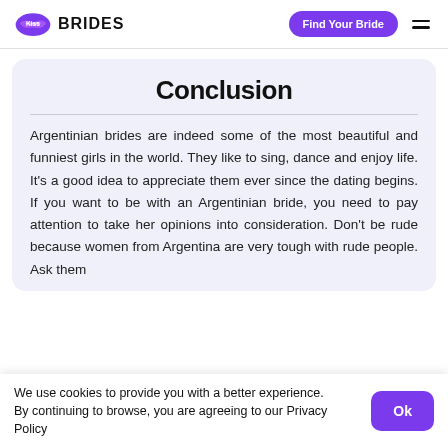Kiss BRIDES | Find Your Bride
Conclusion
Argentinian brides are indeed some of the most beautiful and funniest girls in the world. They like to sing, dance and enjoy life. It's a good idea to appreciate them ever since the dating begins. If you want to be with an Argentinian bride, you need to pay attention to take her opinions into consideration. Don't be rude because women from Argentina are very tough with rude people. Ask them
We use cookies to provide you with a better experience. By continuing to browse, you are agreeing to our Privacy Policy